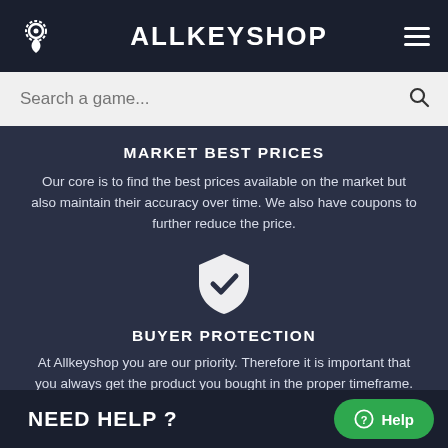ALLKEYSHOP
Search a game...
MARKET BEST PRICES
Our core is to find the best prices available on the market but also maintain their accuracy over time. We also have coupons to further reduce the price.
[Figure (illustration): Shield with checkmark icon, white on dark background]
BUYER PROTECTION
At Allkeyshop you are our priority. Therefore it is important that you always get the product you bought in the proper timeframe.
NEED HELP ?